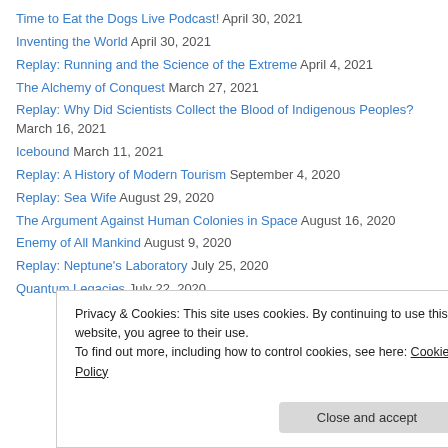Time to Eat the Dogs Live Podcast! April 30, 2021
Inventing the World April 30, 2021
Replay: Running and the Science of the Extreme April 4, 2021
The Alchemy of Conquest March 27, 2021
Replay: Why Did Scientists Collect the Blood of Indigenous Peoples? March 16, 2021
Icebound March 11, 2021
Replay: A History of Modern Tourism September 4, 2020
Replay: Sea Wife August 29, 2020
The Argument Against Human Colonies in Space August 16, 2020
Enemy of All Mankind August 9, 2020
Replay: Neptune's Laboratory July 25, 2020
Quantum Legacies July 22, 2020
Privacy & Cookies: This site uses cookies. By continuing to use this website, you agree to their use. To find out more, including how to control cookies, see here: Cookie Policy